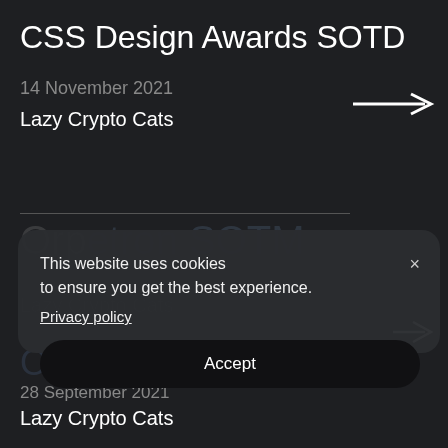CSS Design Awards SOTD
14 November 2021
Lazy Crypto Cats
Orpetron SOTM
31 S[eptember 2021]
Lazy C[rypto Cats]
Orpetron SOTD
28 September 2021
Lazy Crypto Cats
This website uses cookies to ensure you get the best experience. Privacy policy
Accept